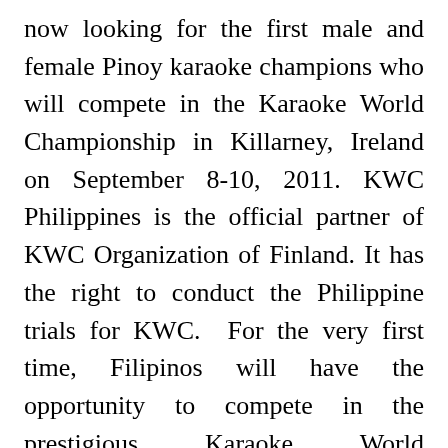now looking for the first male and female Pinoy karaoke champions who will compete in the Karaoke World Championship in Killarney, Ireland on September 8-10, 2011. KWC Philippines is the official partner of KWC Organization of Finland. It has the right to conduct the Philippine trials for KWC. For the very first time, Filipinos will have the opportunity to compete in the prestigious Karaoke World Championships that’s been held annually since 2003 and participated by more than 20 countries around the world. Ms. Cris Llamo, President, KWC Philippines said, “We are encouraging amateur Filipino